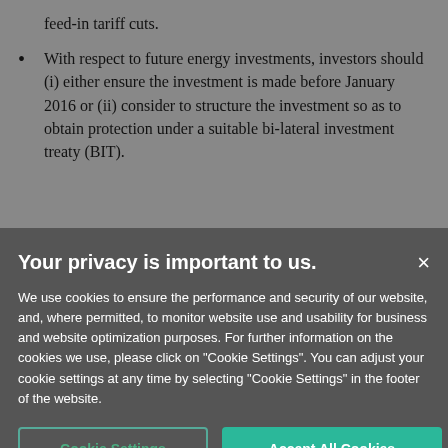feed-in tariff cuts.
With respect to future energy investments, investors should (i) either ensure the investment is made before January 2016 or (ii) consider to structure the investment so as to obtain protection under a suitable bi-lateral investment treaty (BIT).
Your privacy is important to us.
We use cookies to ensure the performance and security of our website, and, where permitted, to monitor website use and usability for business and website optimization purposes. For further information on the cookies we use, please click on "Cookie Settings". You can adjust your cookie settings at any time by selecting "Cookie Settings" in the footer of the website.
Cookie Settings | Accept All Cookies